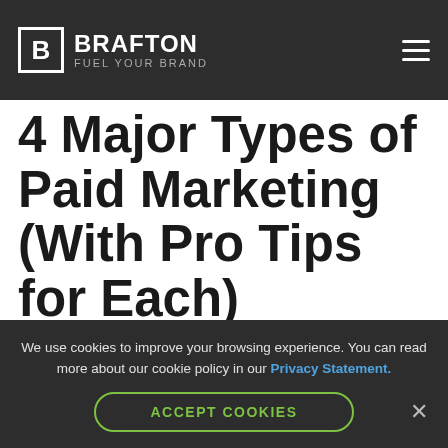BRAFTON FUEL YOUR BRAND
4 Major Types of Paid Marketing (With Pro Tips for Each)
There are four basic forms of paid
We use cookies to improve your browsing experience. You can read more about our cookie policy in our Privacy Statement.
ACCEPT COOKIES